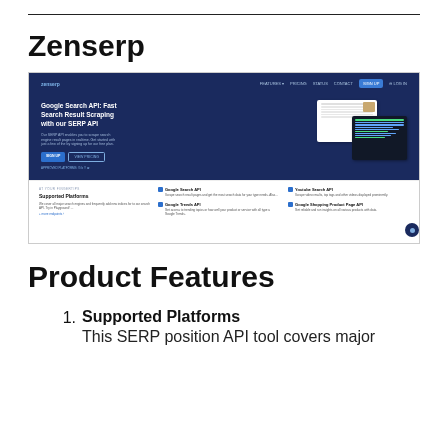Zenserp
[Figure (screenshot): Screenshot of the Zenserp website showing a dark blue hero section with headline 'Google Search API: Fast Search Result Scraping with our SERP API', navigation bar with logo and links, two buttons, and a 'Supported Platforms' section below listing Google Search API, Google Trends API, Youtube Search API, and Google Shopping Product Page API.]
Product Features
Supported Platforms — This SERP position API tool covers major